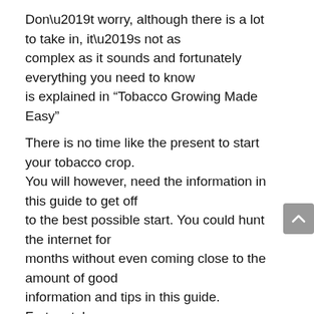Don’t worry, although there is a lot to take in, it’s not as complex as it sounds and fortunately everything you need to know is explained in “Tobacco Growing Made Easy”
There is no time like the present to start your tobacco crop. You will however, need the information in this guide to get off to the best possible start. You could hunt the internet for months without even coming close to the amount of good information and tips in this guide. Fortunately you